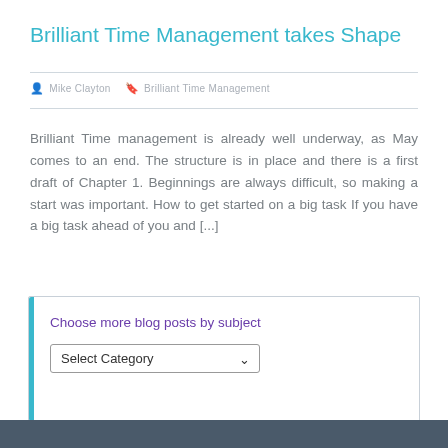Brilliant Time Management takes Shape
Mike Clayton   Brilliant Time Management
Brilliant Time management is already well underway, as May comes to an end. The structure is in place and there is a first draft of Chapter 1. Beginnings are always difficult, so making a start was important. How to get started on a big task If you have a big task ahead of you and [...]
Choose more blog posts by subject
Select Category